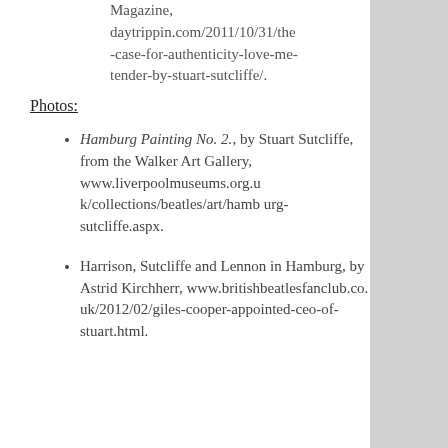Magazine, daytrippin.com/2011/10/31/the-case-for-authenticity-love-me-tender-by-stuart-sutcliffe/.
Photos:
Hamburg Painting No. 2., by Stuart Sutcliffe, from the Walker Art Gallery, www.liverpoolmuseums.org.uk/collections/beatles/art/hamburg-sutcliffe.aspx.
Harrison, Sutcliffe and Lennon in Hamburg, by Astrid Kirchherr, www.britishbeatlesfanclub.co.uk/2012/02/giles-cooper-appointed-ceo-of-stuart.html.